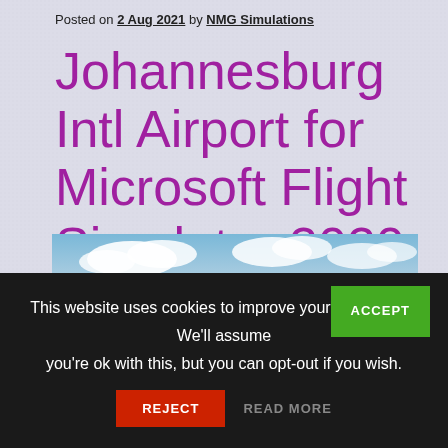Posted on 2 Aug 2021 by NMG Simulations
Johannesburg Intl Airport for Microsoft Flight Simulator 2020 Released
[Figure (photo): Aerial photograph of Johannesburg International Airport showing runways, terminal buildings, and surrounding landscape with blue sky and clouds]
This website uses cookies to improve your experience. We'll assume you're ok with this, but you can opt-out if you wish.
ACCEPT
REJECT
READ MORE